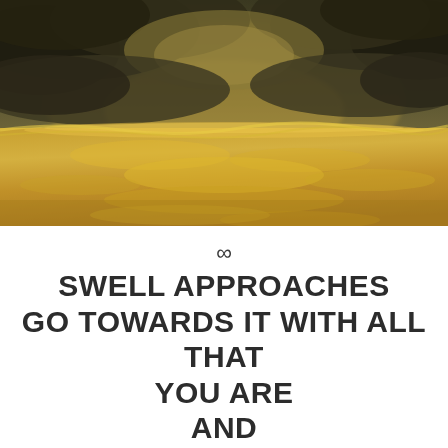[Figure (photo): Dramatic seascape photograph showing golden-lit ocean water with wave crests and heavy dark storm clouds above, lit from behind with warm golden light. The sky is dark and overcast while the water surface glows with reflected golden sunlight.]
∞
SWELL APPROACHES
GO TOWARDS IT WITH ALL THAT
YOU ARE
AND
FLY
ew
5:46 AM - 8/6/15